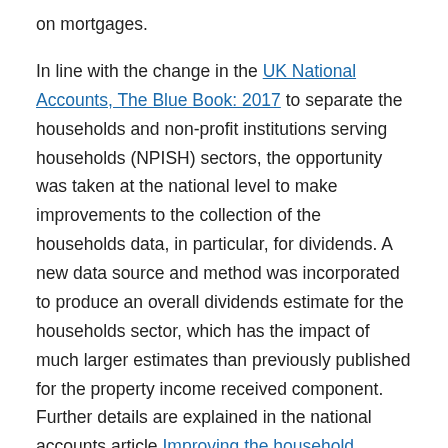on mortgages.

In line with the change in the UK National Accounts, The Blue Book: 2017 to separate the households and non-profit institutions serving households (NPISH) sectors, the opportunity was taken at the national level to make improvements to the collection of the households data, in particular, for dividends. A new data source and method was incorporated to produce an overall dividends estimate for the households sector, which has the impact of much larger estimates than previously published for the property income received component. Further details are explained in the national accounts article Improving the household, private non-financial corporations and non-profits...